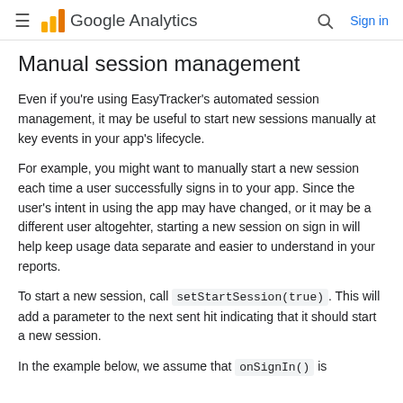Google Analytics — Sign in
Manual session management
Even if you're using EasyTracker's automated session management, it may be useful to start new sessions manually at key events in your app's lifecycle.
For example, you might want to manually start a new session each time a user successfully signs in to your app. Since the user's intent in using the app may have changed, or it may be a different user altogehter, starting a new session on sign in will help keep usage data separate and easier to understand in your reports.
To start a new session, call setStartSession(true). This will add a parameter to the next sent hit indicating that it should start a new session.
In the example below, we assume that onSignIn() is